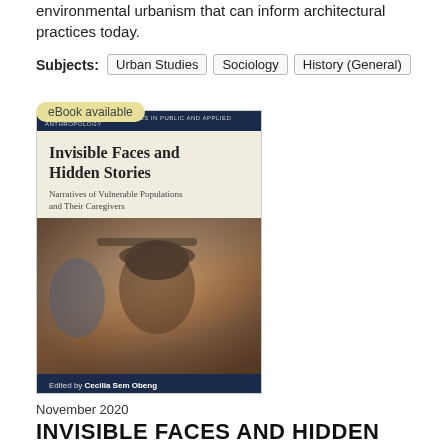environmental urbanism that can inform architectural practices today.
Subjects: Urban Studies  Sociology  History (General)
eBook available
[Figure (photo): Book cover of 'Invisible Faces and Hidden Stories: Narratives of Vulnerable Populations and Their Caregivers', edited by Cecilia Sem Obeng and Samuel Gyasi Obeng. Cover shows an elderly man wearing a hat. Part of Vol. 32 Berghahn Studies in Public and Applied Anthropology series.]
November 2020
INVISIBLE FACES AND HIDDEN